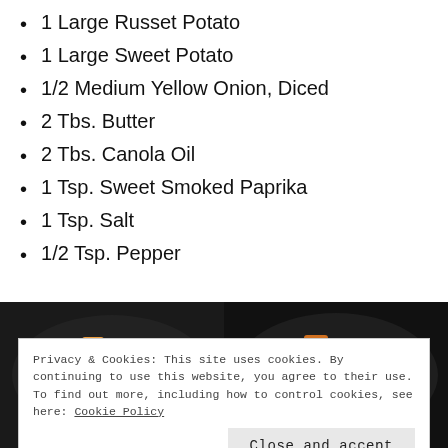1 Large Russet Potato
1 Large Sweet Potato
1/2 Medium Yellow Onion, Diced
2 Tbs. Butter
2 Tbs. Canola Oil
1 Tsp. Sweet Smoked Paprika
1 Tsp. Salt
1/2 Tsp. Pepper
[Figure (photo): Two side-by-side photos of diced sweet potatoes and vegetables cooking in a dark skillet/pan]
Privacy & Cookies: This site uses cookies. By continuing to use this website, you agree to their use.
To find out more, including how to control cookies, see here: Cookie Policy
Close and accept